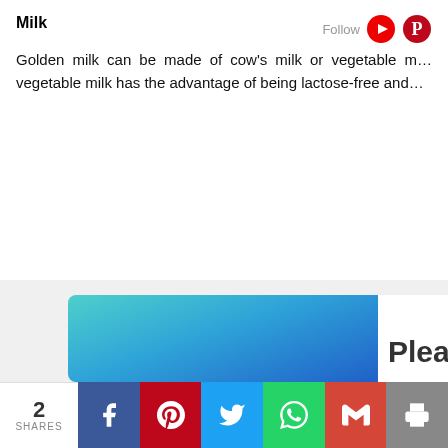Milk
Golden milk can be made of cow's milk or vegetable m… vegetable milk has the advantage of being lactose-free and…
[Figure (screenshot): Browser update prompt overlay with teal-to-blue gradient panel on left and white panel on right showing 'Please up...' heading, Chrome and Firefox browser icons, with social share bar at bottom showing 2 shares via Facebook, Pinterest, Twitter, WhatsApp, Gmail, and Print.]
2 SHARES | Facebook | Pinterest | Twitter | WhatsApp | Gmail | Print